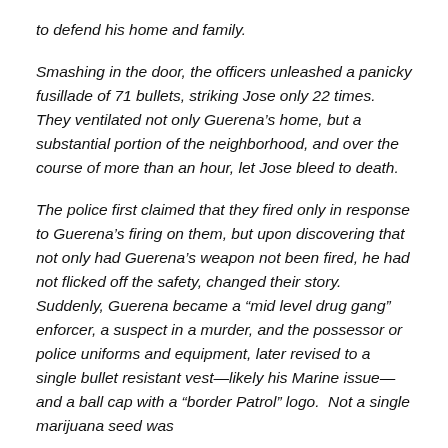to defend his home and family.
Smashing in the door, the officers unleashed a panicky fusillade of 71 bullets, striking Jose only 22 times.  They ventilated not only Guerena’s home, but a substantial portion of the neighborhood, and over the course of more than an hour, let Jose bleed to death.
The police first claimed that they fired only in response to Guerena’s firing on them, but upon discovering that not only had Guerena’s weapon not been fired, he had not flicked off the safety, changed their story.  Suddenly, Guerena became a “mid level drug gang” enforcer, a suspect in a murder, and the possessor or police uniforms and equipment, later revised to a single bullet resistant vest—likely his Marine issue—and a ball cap with a “border Patrol” logo.  Not a single marijuana seed was